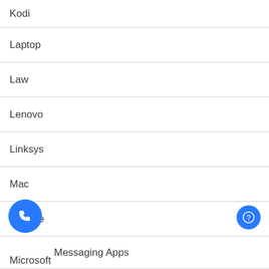Kodi
Laptop
Law
Lenovo
Linksys
Mac
McAfee
Messaging Apps
Microsoft